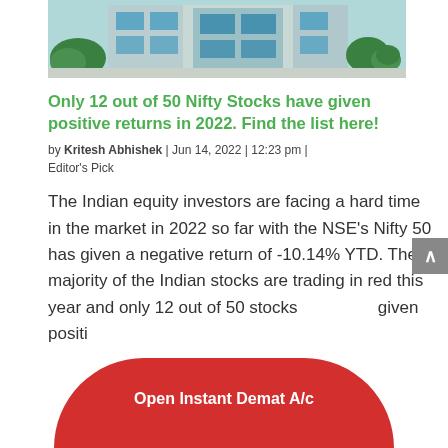[Figure (photo): Exterior photo of a modern commercial office building with glass facade and trees in front]
Only 12 out of 50 Nifty Stocks have given positive returns in 2022. Find the list here!
by Kritesh Abhishek | Jun 14, 2022 | 12:23 pm | Editor's Pick
The Indian equity investors are facing a hard time in the market in 2022 so far with the NSE's Nifty 50 has given a negative return of -10.14% YTD. The majority of the Indian stocks are trading in red this year and only 12 out of 50 stocks have given positive returns.
Open Instant Demat A/c